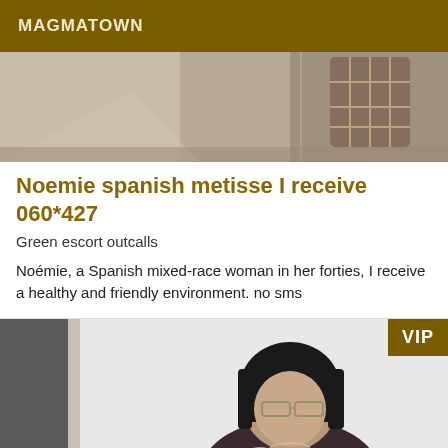MAGMATOWN
[Figure (photo): Top cropped photo showing a partial indoor scene with a birdcage visible in the upper right area, warm tones.]
Noemie spanish metisse I receive 060*427
Green escort outcalls
Noémie, a Spanish mixed-race woman in her forties, I receive a healthy and friendly environment. no sms
[Figure (photo): Photo of a woman with a black bob haircut and glasses wearing a dark top, standing against a white wall, with a VIP badge overlay in upper right corner.]